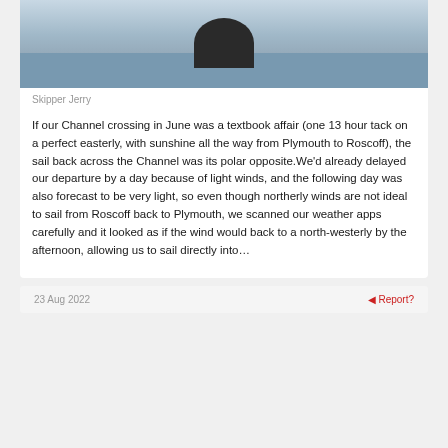[Figure (photo): Person at a sailboat steering wheel on the water, with choppy seas and a red flag visible in the background]
Skipper Jerry
If our Channel crossing in June was a textbook affair (one 13 hour tack on a perfect easterly, with sunshine all the way from Plymouth to Roscoff), the sail back across the Channel was its polar opposite.We'd already delayed our departure by a day because of light winds, and the following day was also forecast to be very light, so even though northerly winds are not ideal to sail from Roscoff back to Plymouth, we scanned our weather apps carefully and it looked as if the wind would back to a north-westerly by the afternoon, allowing us to sail directly into...
23 Aug 2022   Report?